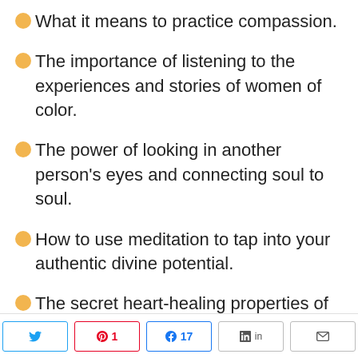What it means to practice compassion.
The importance of listening to the experiences and stories of women of color.
The power of looking in another person's eyes and connecting soul to soul.
How to use meditation to tap into your authentic divine potential.
The secret heart-healing properties of serving others in
Twitter | Pinterest 1 | Facebook 17 | LinkedIn | Email